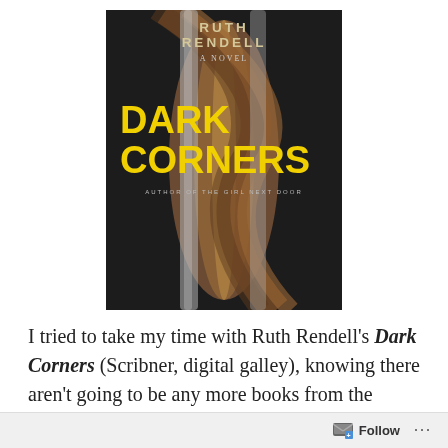[Figure (illustration): Book cover of 'Dark Corners' by Ruth Rendell. Dark background with decorative wooden swirl/spindle design. Author name 'RUTH RENDELL' in large tan/gold letters at top, 'A NOVEL' in small gray letters below, 'DARK CORNERS' in large yellow bold letters in the middle, and 'AUTHOR OF THE GIRL NEXT DOOR' in small text at the bottom.]
I tried to take my time with Ruth Rendell's Dark Corners (Scribner, digital galley), knowing there aren't going to be any more books from the prolific British crime writer. Rendell, who also wrote as Barbara Vine, died in May at age 85, and it's fitting